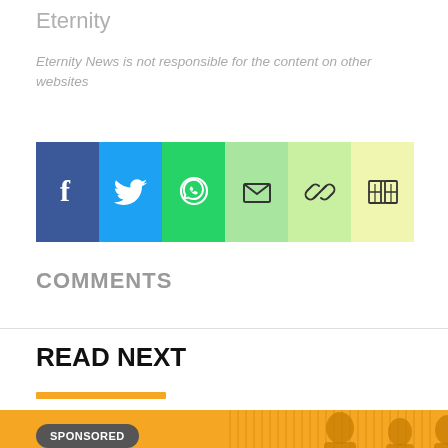Eternity
Eternity News is not responsible for the content on other websites
[Figure (infographic): Social share buttons bar: Facebook (blue), Twitter (light blue), WhatsApp (green), Email (light green), Link (yellow-green), Bookmark (yellow)]
COMMENTS
READ NEXT
[Figure (photo): Sponsored content banner with orange background showing silhouettes of people in suits, with a 'SPONSORED' badge overlay]